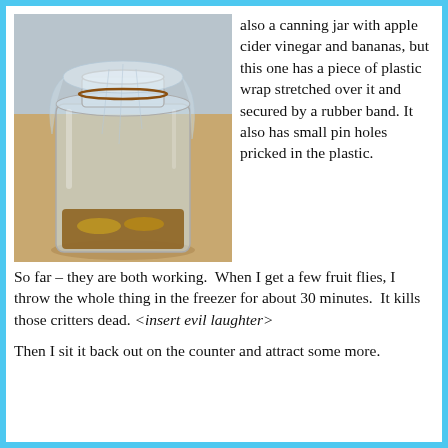[Figure (photo): A glass canning jar with apple cider vinegar and banana slices inside, covered with plastic wrap stretched over the top and secured with a rubber band, sitting on a brown cardboard surface against a gray background.]
also a canning jar with apple cider vinegar and bananas, but this one has a piece of plastic wrap stretched over it and secured by a rubber band. It also has small pin holes pricked in the plastic.
So far – they are both working.  When I get a few fruit flies, I throw the whole thing in the freezer for about 30 minutes.  It kills those critters dead. <insert evil laughter>
Then I sit it back out on the counter and attract some more.